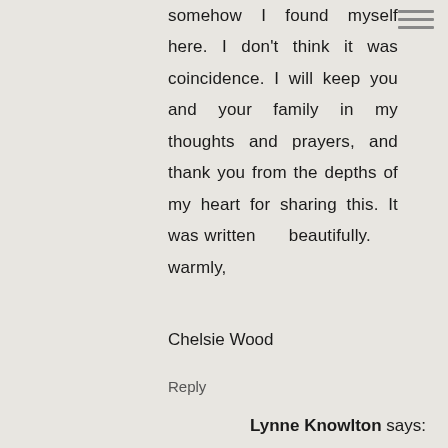somehow I found myself here. I don't think it was coincidence. I will keep you and your family in my thoughts and prayers, and thank you from the depths of my heart for sharing this. It was written beautifully. warmly, Chelsie Wood
Reply
Lynne Knowlton says: